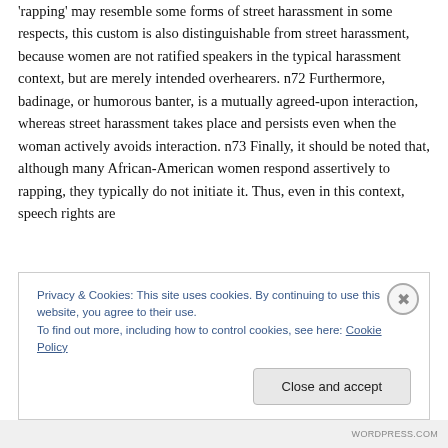'rapping' may resemble some forms of street harassment in some respects, this custom is also distinguishable from street harassment, because women are not ratified speakers in the typical harassment context, but are merely intended overhearers. n72 Furthermore, badinage, or humorous banter, is a mutually agreed-upon interaction, whereas street harassment takes place and persists even when the woman actively avoids interaction. n73 Finally, it should be noted that, although many African-American women respond assertively to rapping, they typically do not initiate it. Thus, even in this context, speech rights are
Privacy & Cookies: This site uses cookies. By continuing to use this website, you agree to their use.
To find out more, including how to control cookies, see here: Cookie Policy
Close and accept
WORDPRESS.COM